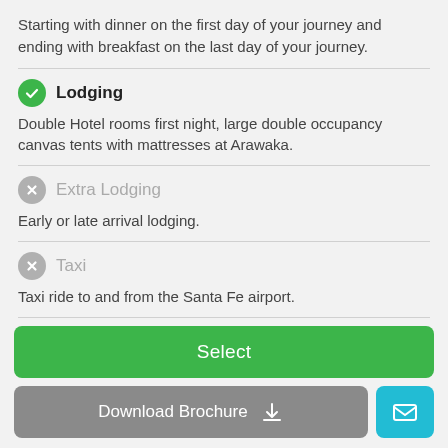Starting with dinner on the first day of your journey and ending with breakfast on the last day of your journey.
Lodging
Double Hotel rooms first night, large double occupancy canvas tents with mattresses at Arawaka.
Extra Lodging
Early or late arrival lodging.
Taxi
Taxi ride to and from the Santa Fe airport.
Flights
Select
Download Brochure